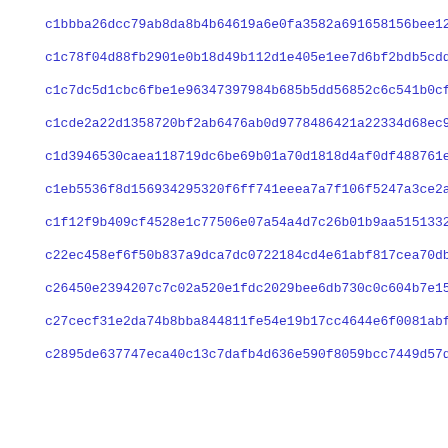c1bbba26dcc79ab8da8b4b64619a6e0fa3582a691658156bee12a88ec9dc6
c1c78f04d88fb2901e0b18d49b112d1e405e1ee7d6bf2bdb5cdd829342f28
c1c7dc5d1cbc6fbe1e96347397984b685b5dd56852c6c541b0cf1af4df1f8
c1cde2a22d1358720bf2ab6476ab0d9778486421a22334d68ec9626520b11
c1d3946530caea118719dc6be69b01a70d1818d4af0df488761ee899738e1
c1eb5536f8d156934295320f6ff741eeea7a7f106f5247a3ce2a037c44b81
c1f12f9b409cf4528e1c77506e07a54a4d7c26b01b9aa5151332be766c04e
c22ec458ef6f50b837a9dca7dc0722184cd4e61abf817cea70db13963f9b2
c26450e2394207c7c02a520e1fdc2029bee6db730c0c604b7e153e007ff19
c27cecf31e2da74b8bba844811fe54e19b17cc4644e6f0081abf212266de1
c2895de637747eca40c13c7dafb4d636e590f8059bcc7449d57d41d66d1b1